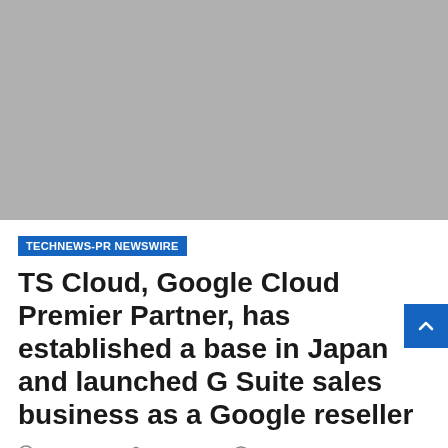[Figure (photo): Gray placeholder image block at the top of the article page]
TECHNEWS-PR NEWSWIRE
TS Cloud, Google Cloud Premier Partner, has established a base in Japan and launched G Suite sales business as a Google reseller
2 years ago   TechAdmin   No Comments